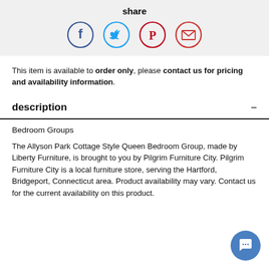share
[Figure (infographic): Four social share icons: Facebook (blue circle), Twitter (light blue circle), Pinterest (red circle), Email (red circle)]
This item is available to order only, please contact us for pricing and availability information.
description
Bedroom Groups
The Allyson Park Cottage Style Queen Bedroom Group, made by Liberty Furniture, is brought to you by Pilgrim Furniture City. Pilgrim Furniture City is a local furniture store, serving the Hartford, Bridgeport, Connecticut area. Product availability may vary. Contact us for the current availability on this product.